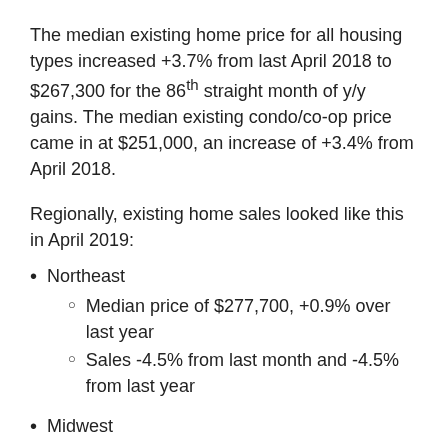The median existing home price for all housing types increased +3.7% from last April 2018 to $267,300 for the 86th straight month of y/y gains. The median existing condo/co-op price came in at $251,000, an increase of +3.4% from April 2018.
Regionally, existing home sales looked like this in April 2019:
Northeast
Median price of $277,700, +0.9% over last year
Sales -4.5% from last month and -4.5% from last year
Midwest
Median price of $210500, +5.5% over last year
Sales held steady from last month, -7.0% from ...